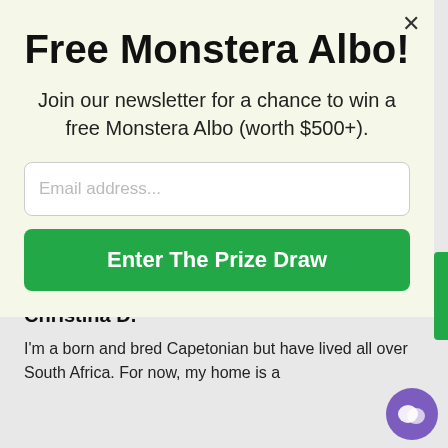Free Monstera Albo!
Join our newsletter for a chance to win a free Monstera Albo (worth $500+).
Email address...
Enter The Prize Draw
Christina D.
I'm a born and bred Capetonian but have lived all over South Africa. For now, my home is a